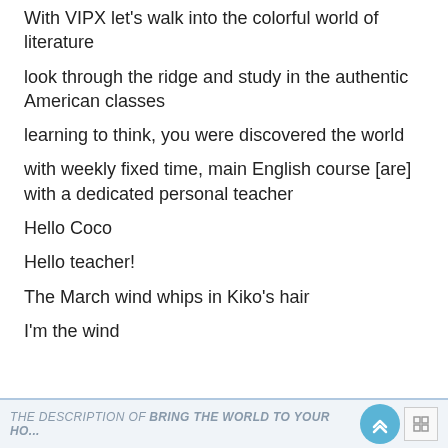With VIPX let's walk into the colorful world of literature
look through the ridge and study in the authentic American classes
learning to think, you were discovered the world
with weekly fixed time, main English course [are] with a dedicated personal teacher
Hello Coco
Hello teacher!
The March wind whips in Kiko's hair
I'm the wind
THE DESCRIPTION OF BRING THE WORLD TO YOUR HO...